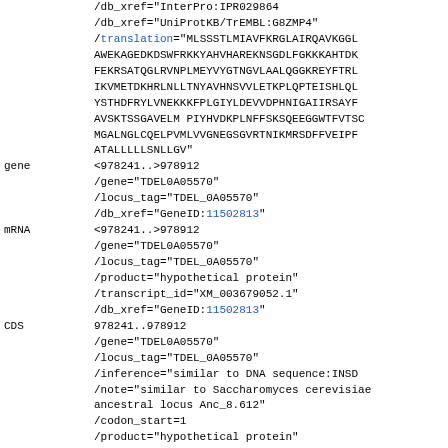/db_xref="InterPro:IPR029864"
/db_xref="UniProtKB/TrEMBL:G8ZMP4"
/translation="MLSSSTLMIAVFKRGLAIRQAVKGGL
AWEKAGEDKDSWFRKKYAHVHAREKNSGDLFGKKKAHTDK
FEKRSATQGLRVNPLMEYVYGTNGVLAALQGGKREYFTRL
IKVMETDKHRLNLLTNYAVHNSVVLETKPLQPTEISHLQL
YSTHDFRYLVNEKKKFPLGIYLDEVVDPHNIGAIIRSAYF
AVSKTSSGAVELMPIYHVDKPLNFFSKSQEEGGWTFVTSC
MGALNGLCQELPVMLVVGNEGSGVRTNIKMRSDFFVEIPF
ATALLLLSNLLGV"
gene    <978241..>978912
/gene="TDEL0A05570"
/locus_tag="TDEL_0A05570"
/db_xref="GeneID:11502813"
mRNA    <978241..>978912
/gene="TDEL0A05570"
/locus_tag="TDEL_0A05570"
/product="hypothetical protein"
/transcript_id="XM_003679052.1"
/db_xref="GeneID:11502813"
CDS     978241..978912
/gene="TDEL0A05570"
/locus_tag="TDEL_0A05570"
/inference="similar to DNA sequence:INSD
/note="similar to Saccharomyces cerevisiae ancestral locus Anc_8.612"
/codon_start=1
/product="hypothetical protein"
/protein_id="XP_003679100.1"
/db_xref="GeneID:11502813"
/db_xref="GOA:G8ZMP5"
/db_xref="InterPro:IPR000807"
/db_xref="InterPro:IPR029565"